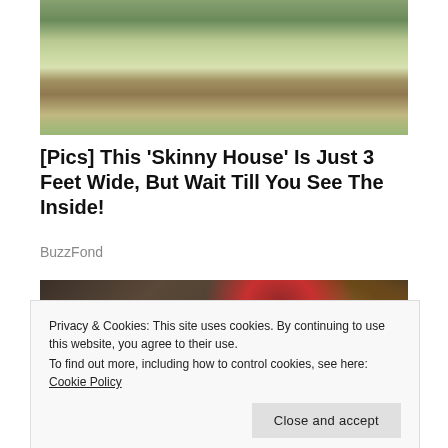[Figure (photo): Exterior photo of a suburban house with green lawn, trees, and a walkway leading to the front door.]
[Pics] This 'Skinny House' Is Just 3 Feet Wide, But Wait Till You See The Inside!
BuzzFond
[Figure (photo): Overhead flat-lay of various healthy foods including vegetables, fish, tomatoes, pomegranate, walnuts, chickpeas, and a chalkboard sign reading 'STOP EATING C.R.A.P C - CARBONATED DRINKS R - REFINED SUGARS'.]
Privacy & Cookies: This site uses cookies. By continuing to use this website, you agree to their use.
To find out more, including how to control cookies, see here: Cookie Policy